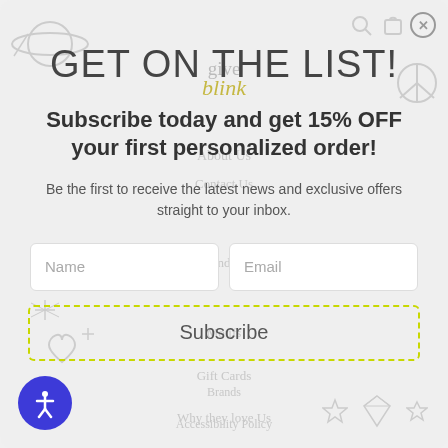GET ON THE LIST!
Subscribe today and get 15% OFF your first personalized order!
Be the first to receive the latest news and exclusive offers straight to your inbox.
Name
Email
Subscribe